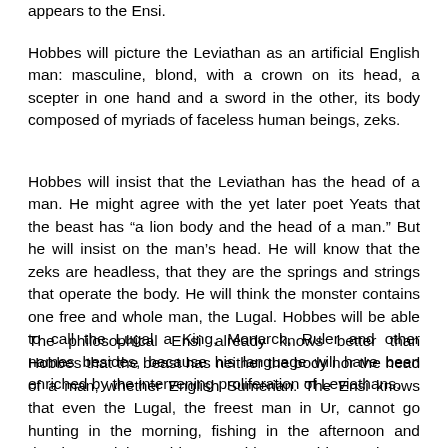appears to the Ensi.
Hobbes will picture the Leviathan as an artificial English man: masculine, blond, with a crown on its head, a scepter in one hand and a sword in the other, its body composed of myriads of faceless human beings, zeks.
Hobbes will insist that the Leviathan has the head of a man. He might agree with the yet later poet Yeats that the beast has “a lion body and the head of a man.” But he will insist on the man’s head. He will know that the zeks are headless, that they are the springs and strings that operate the body. He will think the monster contains one free and whole man, the Lugal. Hobbes will be able to call the Lugal a King, Monarch, Ruler and other names besides, because his language will have been enriched by the intervening proliferation of Leviathans.
The philosophical Ensi already knows better than Hobbes that the beast has neither the body nor the head of a man, whether English Sumerian. The Ensi knows that even the Lugal, the freest man in Ur, cannot go hunting in the morning, fishing in the afternoon and dancing at night, as his own spirit moves him. He knows of a Lugal who went off hunting only twice, and the second time, while the Lugal was in the woods, his favorite Ensi replaced him as Lugal,